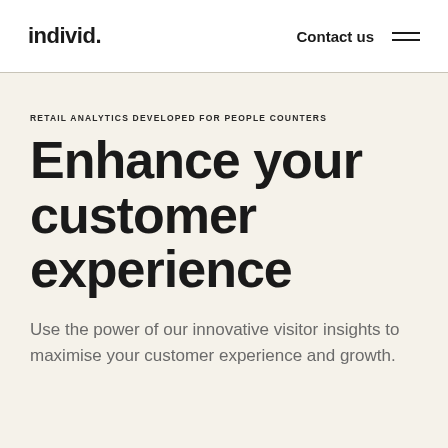individ. Contact us
RETAIL ANALYTICS DEVELOPED FOR PEOPLE COUNTERS
Enhance your customer experience
Use the power of our innovative visitor insights to maximise your customer experience and growth.